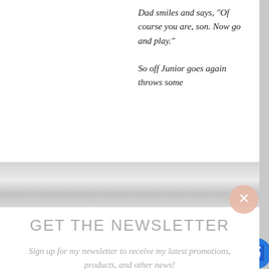Dad smiles and says, “Of course you are, son. Now go and play.” So off Junior goes again throws some
GET THE NEWSLETTER
Sign up for my newsletter to receive my latest promotions, products, and other news!
enter your e
sign up